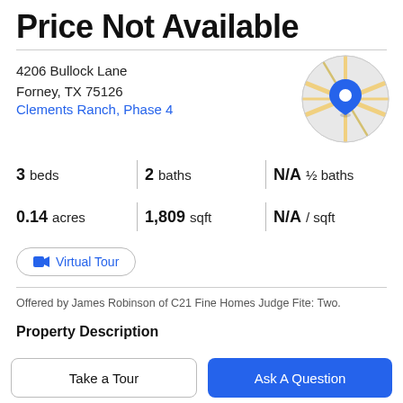Price Not Available
4206 Bullock Lane
Forney, TX 75126
Clements Ranch, Phase 4
[Figure (map): Circular map thumbnail showing street map with a blue location pin marker in the center area, with yellow roads on grey background]
3 beds | 2 baths | N/A ½ baths
0.14 acres | 1,809 sqft | N/A / sqft
Virtual Tour
Offered by James Robinson of C21 Fine Homes Judge Fite: Two.
Property Description
This 3 bed 2 bath home in Forney, TX is your perfect...
Take a Tour
Ask A Question